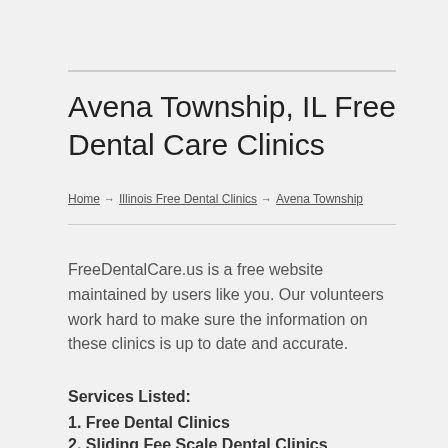Avena Township, IL Free Dental Care Clinics
Home → Illinois Free Dental Clinics → Avena Township
FreeDentalCare.us is a free website maintained by users like you. Our volunteers work hard to make sure the information on these clinics is up to date and accurate.
Services Listed:
1. Free Dental Clinics
2. Sliding Fee Scale Dental Clinics